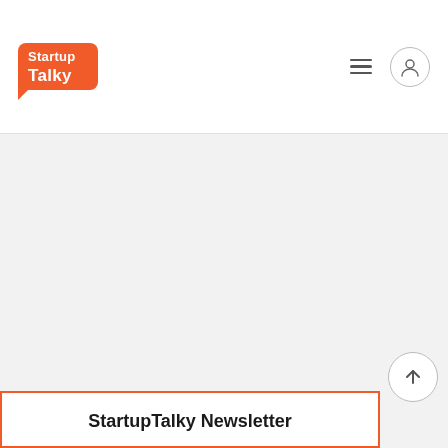[Figure (logo): StartupTalky logo — orange speech bubble with white text 'Startup' on top line and 'Talky' on second line, bubble tail at bottom-left]
[Figure (other): Navigation icons: hamburger menu (three horizontal lines) and user account icon (circle with person silhouette)]
[Figure (other): Large empty grey content area below the header]
StartupTalky Newsletter
[Figure (other): Scroll-to-top circular button with upward arrow, positioned bottom-right overlapping the newsletter box border]